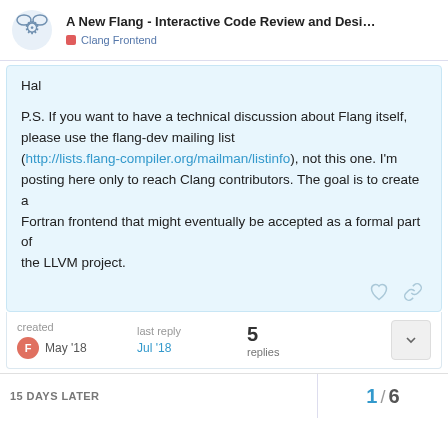A New Flang - Interactive Code Review and Desi... | Clang Frontend
Hal

P.S. If you want to have a technical discussion about Flang itself,
please use the flang-dev mailing list
(http://lists.flang-compiler.org/mailman/listinfo), not this one. I'm posting here only to reach Clang contributors. The goal is to create a
Fortran frontend that might eventually be accepted as a formal part of
the LLVM project.
created May '18   last reply Jul '18   5 replies
15 DAYS LATER
1 / 6